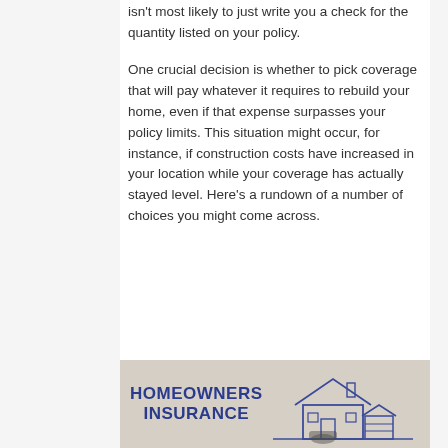isn't most likely to just write you a check for the quantity listed on your policy.
One crucial decision is whether to pick coverage that will pay whatever it requires to rebuild your home, even if that expense surpasses your policy limits. This situation might occur, for instance, if construction costs have increased in your location while your coverage has actually stayed level. Here's a rundown of a number of choices you might come across.
[Figure (illustration): Homeowners Insurance illustration with bold blue text reading 'HOMEOWNERS INSURANCE' and a simple line drawing of a house on the right side, on a beige/tan background.]